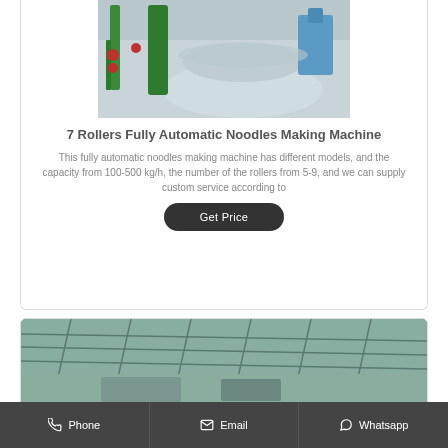[Figure (photo): Industrial noodles making machine with green rollers and large conical silver mixing bowls in a factory setting]
7 Rollers Fully Automatic Noodles Making Machine
This fully automatic noodles making machine has different models, and the capacity from 100-500 kg/h, the number of the rollers from 5-9, and we can supply custom service according to
[Figure (photo): Industrial noodle processing facility interior showing overhead conveyor structures and equipment]
Phone   Email   Whatsapp